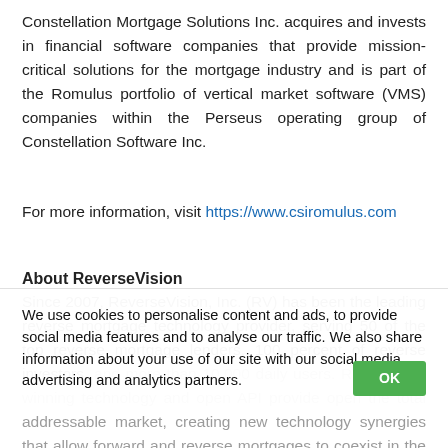Constellation Mortgage Solutions Inc. acquires and invests in financial software companies that provide mission-critical solutions for the mortgage industry and is part of the Romulus portfolio of vertical market software (VMS) companies within the Perseus operating group of Constellation Software Inc.
For more information, visit https://www.csiromulus.com
About ReverseVision
Since 2007, ReverseVision, Inc. (RV) has been the leading reverse mortgage technology provider, serving 50 of the top reverse mortgage lenders, 100 percent of reverse investors, and more than 10,000 daily users. RV's award-winning technology and open API provide open the total addressable market, creating new technology synergies that allow forward and reverse mortgages to coexist in the lender's core systems, helping break down adoption barriers so that more...
We use cookies to personalise content and ads, to provide social media features and to analyse our traffic. We also share information about your use of our site with our social media, advertising and analytics partners.